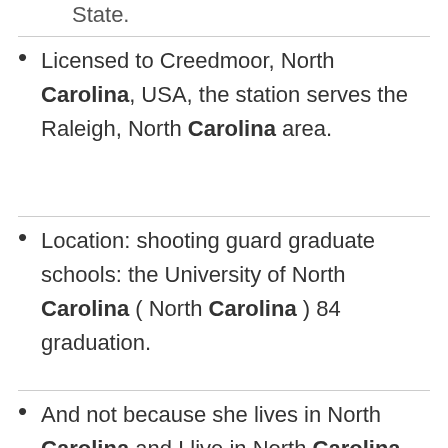State.
Licensed to Creedmoor, North Carolina, USA, the station serves the Raleigh, North Carolina area.
Location: shooting guard graduate schools: the University of North Carolina ( North Carolina ) 84 graduation.
And not because she lives in North Carolina and I live in North Carolina.